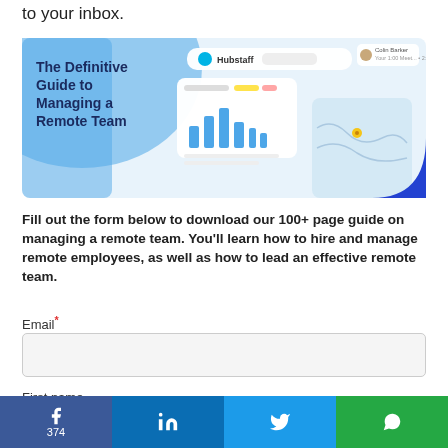to your inbox.
[Figure (illustration): Book cover image: 'The Definitive Guide to Managing a Remote Team' with Hubstaff branding, showing dashboard charts and a map widget on a light blue background]
Fill out the form below to download our 100+ page guide on managing a remote team. You'll learn how to hire and manage remote employees, as well as how to lead an effective remote team.
Email*
First name
374